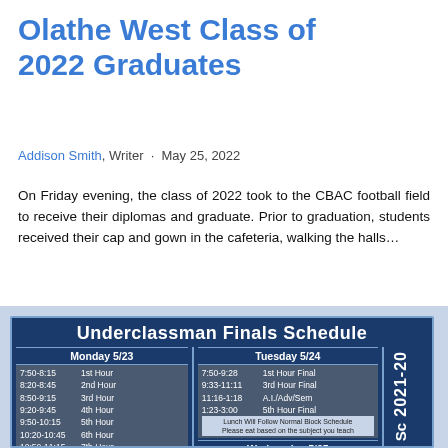Olathe West Class of 2022 Graduates
Addison Smith, Writer · May 25, 2022
On Friday evening, the class of 2022 took to the CBAC football field to receive their diplomas and graduate. Prior to graduation, students received their cap and gown in the cafeteria, walking the halls…
[Figure (photo): Photo of Underclassman Finals Schedule board showing Monday 5/23 and Tuesday 5/24 schedules with times and periods listed, plus partial Wednesday 5/25 and a 2021-20 High School banner on the right side.]